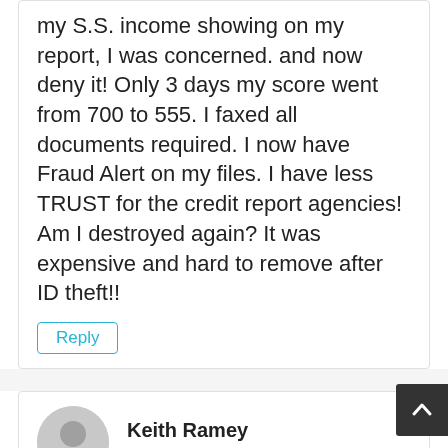my S.S. income showing on my report, I was concerned. and now deny it! Only 3 days my score went from 700 to 555. I faxed all documents required. I now have Fraud Alert on my files. I have less TRUST for the credit report agencies! Am I destroyed again? It was expensive and hard to remove after ID theft!!
Reply
Keith Ramey
August 12, 2016 at 10:20 pm
I had a finance company that I hadn't used in 9 years do a hard credit inquiry on me cutting my score over 3 points. Is this legal? I contacted trans union & they said I would have to get the finance co. that